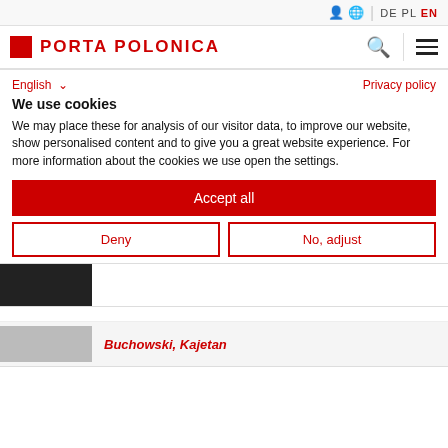DE PL EN
PORTA POLONICA
English
Privacy policy
We use cookies
We may place these for analysis of our visitor data, to improve our website, show personalised content and to give you a great website experience. For more information about the cookies we use open the settings.
Accept all
Deny
No, adjust
[Figure (photo): Dark photograph partially visible at bottom]
Buchowski, Kajetan